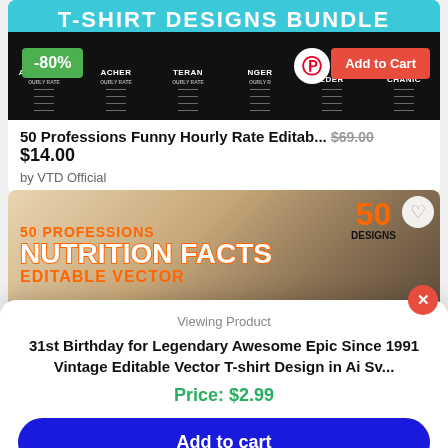[Figure (screenshot): Product card for '50 Professions Funny Hourly Rate Editable T-Shirt Designs Bundle' showing multiple black t-shirts with profession text on a teal background. Green -80% discount badge. Pinterest icon and red 'Add to Cart' button.]
50 Professions Funny Hourly Rate Editab...  $69.00  $14.00
by VTD Official
[Figure (screenshot): Product card for '50 Professions Nutrition Facts Editable Vector' showing orange text on food background with '50 DESIGNS' badge and heart icon.]
Viewing Product
31st Birthday for Legendary Awesome Epic Since 1991 Vintage Editable Vector T-shirt Design in Ai Sv...
Price: $2.99
Add to cart